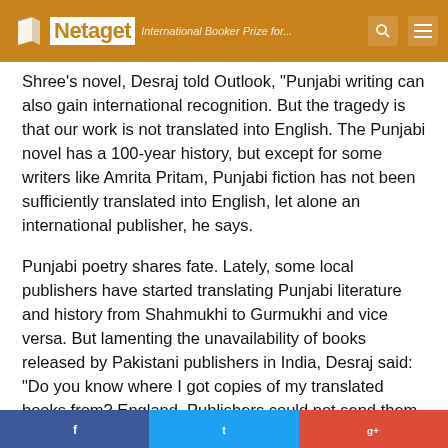Netaget | International Booker Prize for...
Shree's novel, Desraj told Outlook, "Punjabi writing can also gain international recognition. But the tragedy is that our work is not translated into English. The Punjabi novel has a 100-year history, but except for some writers like Amrita Pritam, Punjabi fiction has not been sufficiently translated into English, let alone an international publisher, he says.
Punjabi poetry shares fate. Lately, some local publishers have started translating Punjabi literature and history from Shahmukhi to Gurmukhi and vice versa. But lamenting the unavailability of books released by Pakistani publishers in India, Desraj said: "Do you know where I got copies of my translated books from? England. Publishers could not send them to me directly. Similarly, he informs, some publishing houses in Indian Punjab have also started printing the works of Pakistani Punjabi poets and authors in Gurmukhi. "It's really a nice trend...
Social share buttons: Facebook, Twitter, Google+